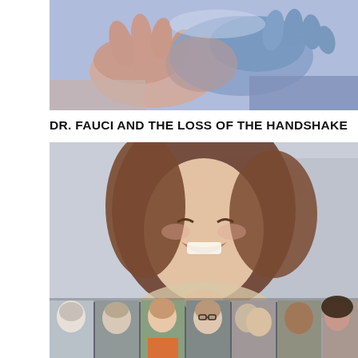[Figure (photo): Close-up photo of two hands in a handshake against a blue/purple blurred background]
DR. FAUCI AND THE LOSS OF THE HANDSHAKE
[Figure (photo): Composite image: large photo of a laughing woman with brown hair, and a strip of smaller portrait photos of diverse smiling people at the bottom]